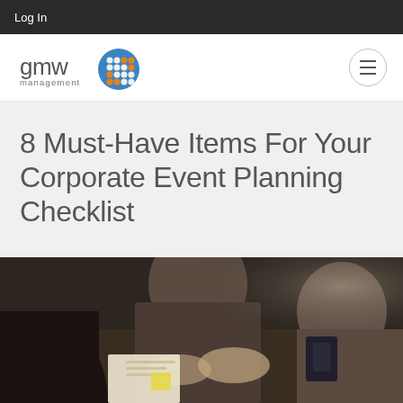Log In
[Figure (logo): GMW Management logo — text 'gmw management' with a circular blue and orange dot-grid graphic]
8 Must-Have Items For Your Corporate Event Planning Checklist
[Figure (photo): People sitting around a table working on documents, viewed from above, dark background]